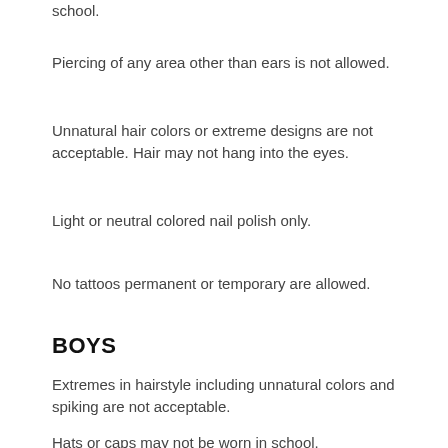school.
Piercing of any area other than ears is not allowed.
Unnatural hair colors or extreme designs are not acceptable. Hair may not hang into the eyes.
Light or neutral colored nail polish only.
No tattoos permanent or temporary are allowed.
BOYS
Extremes in hairstyle including unnatural colors and spiking are not acceptable.
Hats or caps may not be worn in school.